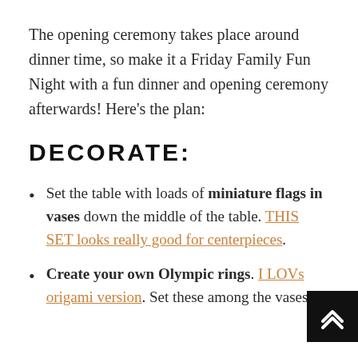The opening ceremony takes place around dinner time, so make it a Friday Family Fun Night with a fun dinner and opening ceremony afterwards! Here's the plan:
DECORATE:
Set the table with loads of miniature flags in vases down the middle of the table. THIS SET looks really good for centerpieces.
Create your own Olympic rings. I LOV…s origami version. Set these among the vases